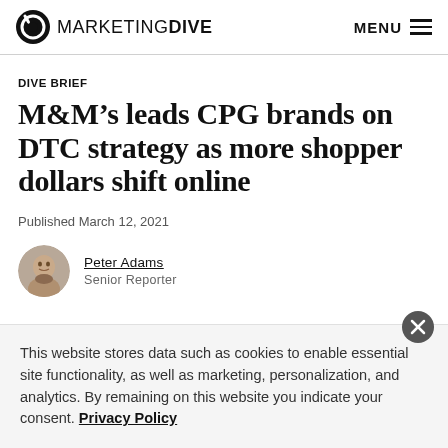MARKETING DIVE  MENU
DIVE BRIEF
M&M’s leads CPG brands on DTC strategy as more shopper dollars shift online
Published March 12, 2021
Peter Adams
Senior Reporter
This website stores data such as cookies to enable essential site functionality, as well as marketing, personalization, and analytics. By remaining on this website you indicate your consent. Privacy Policy